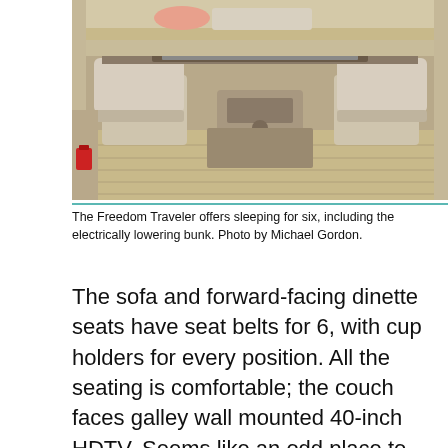[Figure (photo): Interior photo of an RV showing two captain's chairs facing forward toward the cab, with a bunk bed above lowered partway. A red gas can is visible on the left sofa. The floor is wood-look laminate.]
The Freedom Traveler offers sleeping for six, including the electrically lowering bunk. Photo by Michael Gordon.
The sofa and forward-facing dinette seats have seat belts for 6, with cup holders for every position. All the seating is comfortable; the couch faces galley wall mounted 40-inch HDTV. Seems like an odd place to mount the TV, but it works...